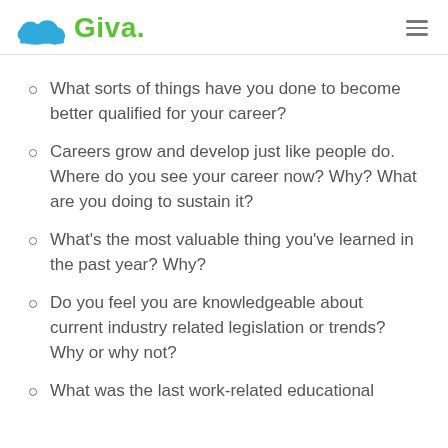Giva
What sorts of things have you done to become better qualified for your career?
Careers grow and develop just like people do. Where do you see your career now? Why? What are you doing to sustain it?
What's the most valuable thing you've learned in the past year? Why?
Do you feel you are knowledgeable about current industry related legislation or trends? Why or why not?
What was the last work-related educational